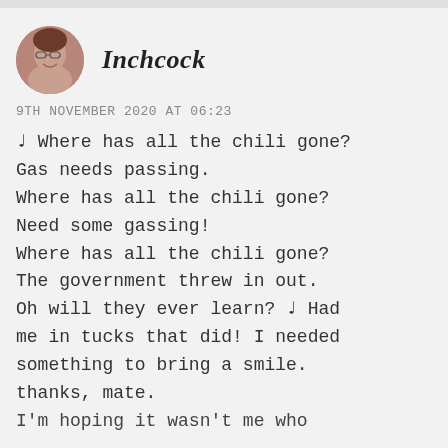[Figure (photo): Circular avatar photo of an elderly man smiling, wearing glasses]
Inchcock
9TH NOVEMBER 2020 AT 06:23
♩ Where has all the chili gone? Gas needs passing. Where has all the chili gone? Need some gassing! Where has all the chili gone? The government threw in out. Oh will they ever learn? ♩ Had me in tucks that did! I needed something to bring a smile. thanks, mate. I'm hoping it wasn't me who